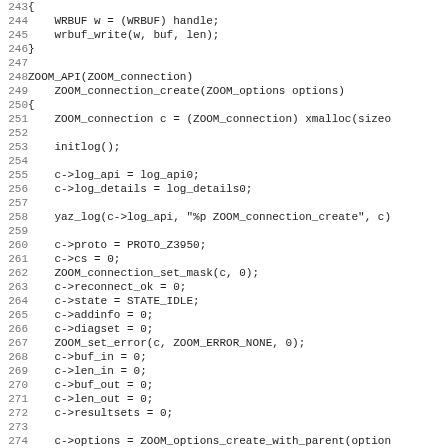Source code listing, lines 243-275, showing C code for ZOOM_connection_create function